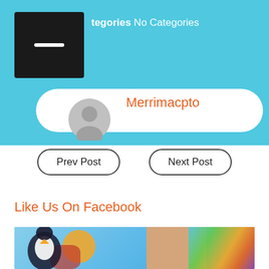Categories No Categories
Merrimacpto
Prev Post
Next Post
Like Us On Facebook
[Figure (photo): Outdoor photo showing colorful painted boards/signs including a bird/pelican design and tie-dye shirt, with a person leaning over]